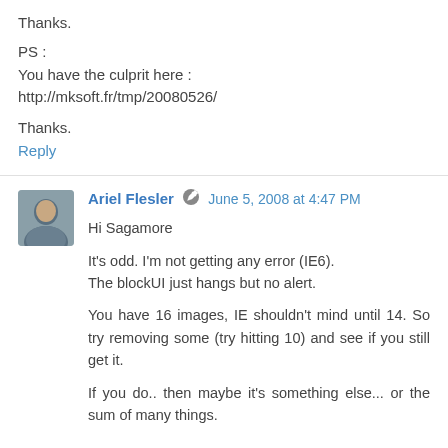Thanks.
PS :
You have the culprit here :
http://mksoft.fr/tmp/20080526/
Thanks.
Reply
Ariel Flesler  June 5, 2008 at 4:47 PM
Hi Sagamore
It's odd. I'm not getting any error (IE6).
The blockUI just hangs but no alert.
You have 16 images, IE shouldn't mind until 14. So try removing some (try hitting 10) and see if you still get it.
If you do.. then maybe it's something else... or the sum of many things.